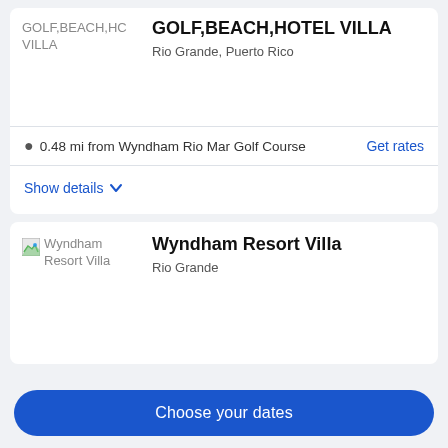GOLF,BEACH,HOTEL VILLA
Rio Grande, Puerto Rico
0.48 mi from Wyndham Rio Mar Golf Course
Get rates
Show details
Wyndham Resort Villa
Rio Grande
Choose your dates